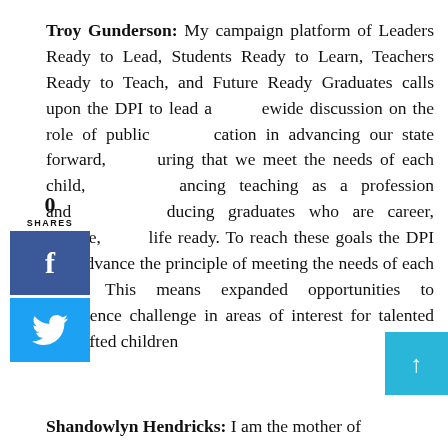Troy Gunderson: My campaign platform of Leaders Ready to Lead, Students Ready to Learn, Teachers Ready to Teach, and Future Ready Graduates calls upon the DPI to lead a statewide discussion on the role of public education in advancing our state forward, ensuring that we meet the needs of each child, enhancing teaching as a profession and producing graduates who are career, college, and life ready. To reach these goals the DPI will advance the principle of meeting the needs of each child. This means expanded opportunities to experience challenge in areas of interest for talented and gifted children
Shandowlyn Hendricks: I am the mother of